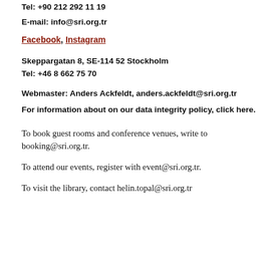Tel: +90 212 292 11 19
E-mail: info@sri.org.tr
Facebook, Instagram
Skeppargatan 8, SE-114 52 Stockholm
Tel: +46 8 662 75 70
Webmaster: Anders Ackfeldt, anders.ackfeldt@sri.org.tr
For information about on our data integrity policy, click here.
To book guest rooms and conference venues, write to booking@sri.org.tr.
To attend our events, register with event@sri.org.tr.
To visit the library, contact helin.topal@sri.org.tr